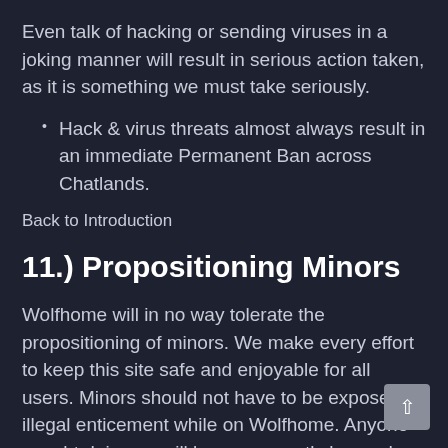Even talk of hacking or sending viruses in a joking manner will result in serious action taken, as it is something we must take seriously.
Hack & virus threats almost always result in an immediate Permanent Ban across Chatlands.
Back to Introduction
11.) Propositioning Minors
Wolfhome will in no way tolerate the propositioning of minors. We make every effort to keep this site safe and enjoyable for all users. Minors should not have to be exposed to illegal enticement while on Wolfhome. Anyone caught doing so will be permanently banned from all Chatlands sites straight away. No exceptions. Instances of propositioning minors will be reported to the